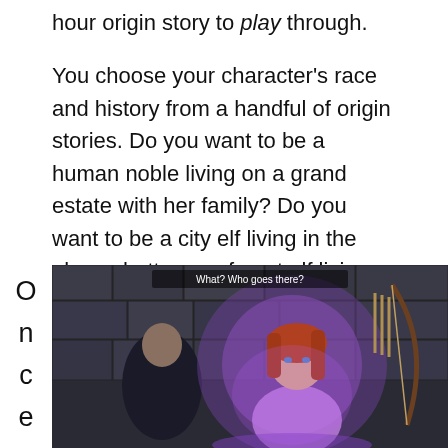hour origin story to play through.
You choose your character's race and history from a handful of origin stories. Do you want to be a human noble living on a grand estate with her family? Do you want to be a city elf living in the elven ghetto, or a forest elf living with his tribe in the wilds? Do you want to be a mage growing up in the Circle where people with magical abilities are trained and carefully watched by the wary Templars? Will you be a dwarven noble or a commoner?
O
n
c
e

y
o
u
[Figure (screenshot): Screenshot from Dragon Age: Origins video game showing two characters in a stone dungeon setting, one a glowing purple/pink mage and one a warrior. Text overlay reads 'What? Who goes there?']